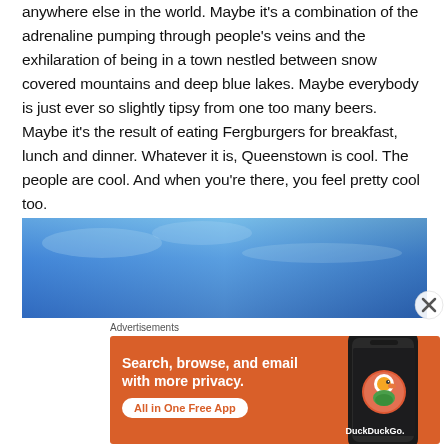anywhere else in the world. Maybe it's a combination of the adrenaline pumping through people's veins and the exhilaration of being in a town nestled between snow covered mountains and deep blue lakes. Maybe everybody is just ever so slightly tipsy from one too many beers. Maybe it's the result of eating Fergburgers for breakfast, lunch and dinner. Whatever it is, Queenstown is cool. The people are cool. And when you're there, you feel pretty cool too.
[Figure (photo): Partial outdoor photo showing a blue sky, appears to be a landscape photo of Queenstown area with mountains, cut off at bottom]
Advertisements
[Figure (screenshot): DuckDuckGo advertisement on orange background. Text: 'Search, browse, and email with more privacy. All in One Free App'. Shows a phone with DuckDuckGo logo.]